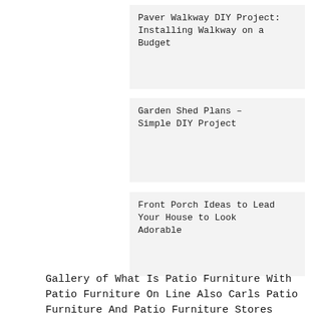Paver Walkway DIY Project: Installing Walkway on a Budget
Garden Shed Plans – Simple DIY Project
Front Porch Ideas to Lead Your House to Look Adorable
Gallery of What Is Patio Furniture With Patio Furniture On Line Also Carls Patio Furniture And Patio Furniture Stores Nearby Besides Outdoor Patio Furniture Near Me Where To Buy Patio Furniture